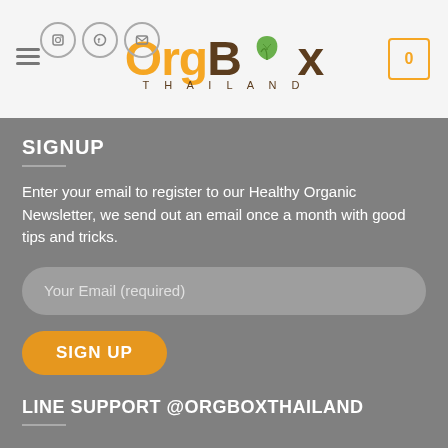[Figure (logo): OrgBox Thailand logo with orange 'Org' text, dark brown 'Box' text, green leaf graphic, and 'THAILAND' subtitle in letter-spaced dark brown]
SIGNUP
Enter your email to register to our Healthy Organic Newsletter, we send out an email once a month with good tips and tricks.
Your Email (required)
SIGN UP
LINE SUPPORT @ORGBOXTHAILAND